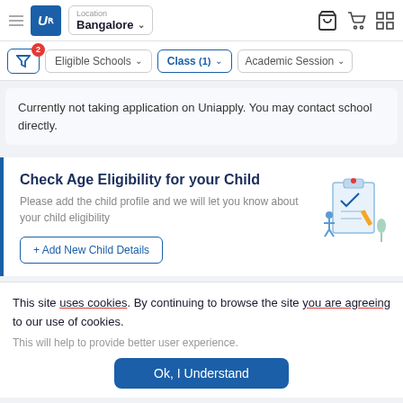UR | Location Bangalore
Eligible Schools | Class (1) | Academic Session
Currently not taking application on Uniapply. You may contact school directly.
Check Age Eligibility for your Child
Please add the child profile and we will let you know about your child eligibility
+ Add New Child Details
This site uses cookies. By continuing to browse the site you are agreeing to our use of cookies.
This will help to provide better user experience.
Ok, I Understand